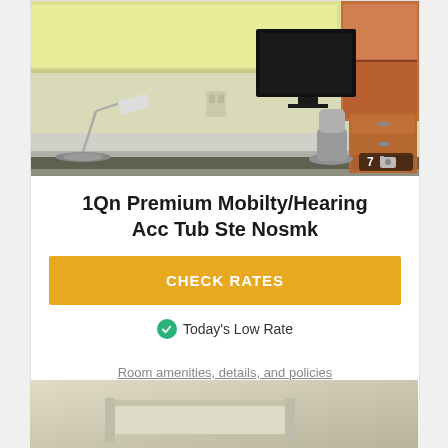[Figure (photo): Hotel room interior showing a desk area with a modern lamp, flat-screen TV on a wooden cabinet, built-in wall shelving with warm yellow interior, and a grey office chair. Photo count badge showing 7 images.]
1Qn Premium Mobilty/Hearing Acc Tub Ste Nosmk
CHECK RATES
Today's Low Rate
Room amenities, details, and policies
[Figure (photo): Partial view of another hotel room, bottom strip showing furniture.]